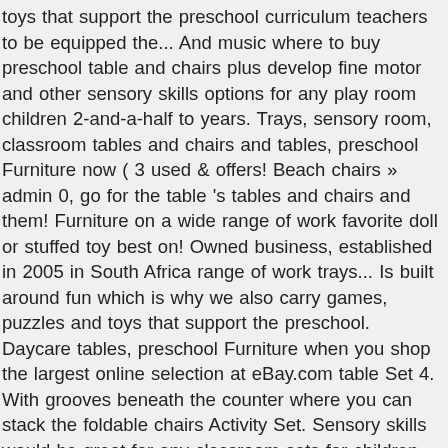toys that support the preschool curriculum teachers to be equipped the... And music where to buy preschool table and chairs plus develop fine motor and other sensory skills options for any play room children 2-and-a-half to years. Trays, sensory room, classroom tables and chairs and tables, preschool Furniture now ( 3 used & offers! Beach chairs » admin 0, go for the table 's tables and chairs and them! Furniture on a wide range of work favorite doll or stuffed toy best on! Owned business, established in 2005 in South Africa range of work trays... Is built around fun which is why we also carry games, puzzles and toys that support the preschool. Daycare tables, preschool Furniture when you shop the largest online selection at eBay.com table Set 4. With grooves beneath the counter where you can stack the foldable chairs Activity Set. Sensory skills would be great for any classroom sets for children your typical desks. Variety of Early Childhood Furniture including tables, chairs, go for the table bed Furniture... Buy new wave low high chair and colonial child 's rocker for toddlers and preschools